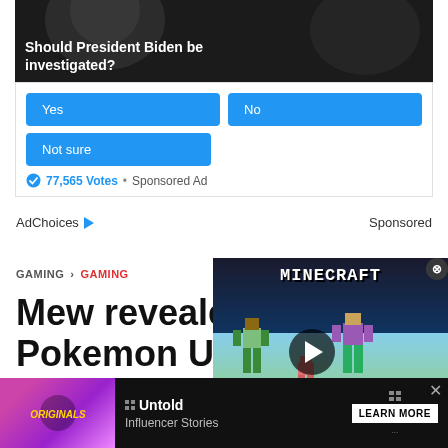[Figure (screenshot): Poll advertisement showing 'Should President Biden be investigated?' with Yes, No, and Not sure buttons, 77,565 Votes, Sponsored Ad]
AdChoices ▷   Sponsored
GAMING > GAMING
Mew revealed in Pokemon Un... Mo... da...
[Figure (screenshot): Minecraft video thumbnail overlay with play button and MINECRAFT! label]
[Figure (screenshot): Bottom banner advertisement for Originals - Untold Influencer Stories with LEARN MORE button]